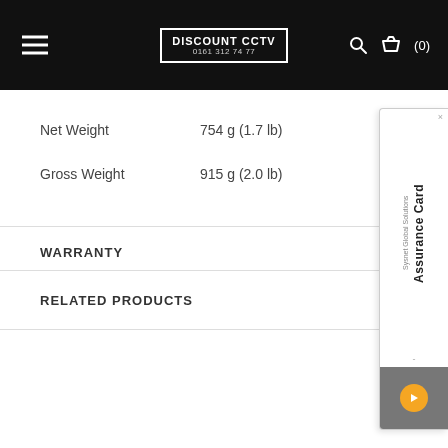DISCOUNT CCTV 0161 312 74 77
Net Weight    754 g (1.7 lb)
Gross Weight    915 g (2.0 lb)
WARRANTY
RELATED PRODUCTS